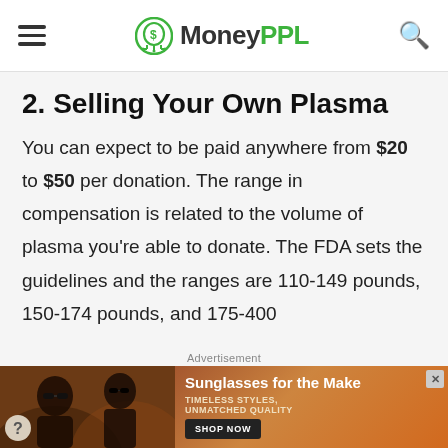MoneyPPL
2. Selling Your Own Plasma
You can expect to be paid anywhere from $20 to $50 per donation. The range in compensation is related to the volume of plasma you're able to donate. The FDA sets the guidelines and the ranges are 110-149 pounds, 150-174 pounds, and 175-400
[Figure (screenshot): Advertisement banner showing women in sunglasses with text 'Sunglasses for the Make', 'TIMELESS STYLES, UNMATCHED QUALITY', and a 'SHOP NOW' button]